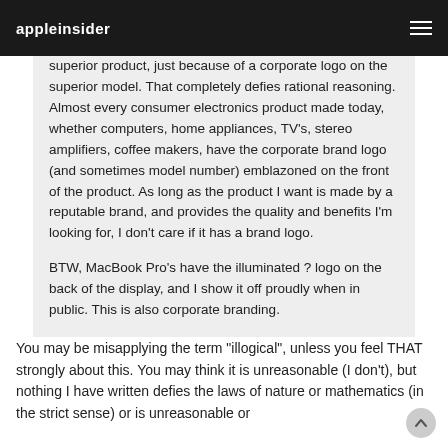appleinsider
superior product, just because of a corporate logo on the superior model. That completely defies rational reasoning. Almost every consumer electronics product made today, whether computers, home appliances, TV's, stereo amplifiers, coffee makers, have the corporate brand logo (and sometimes model number) emblazoned on the front of the product. As long as the product I want is made by a reputable brand, and provides the quality and benefits I'm looking for, I don't care if it has a brand logo.

BTW, MacBook Pro's have the illuminated ? logo on the back of the display, and I show it off proudly when in public. This is also corporate branding.
You may be misapplying the term "illogical", unless you feel THAT strongly about this. You may think it is unreasonable (I don't), but nothing I have written defies the laws of nature or mathematics (in the strict sense) or is unreasonable or